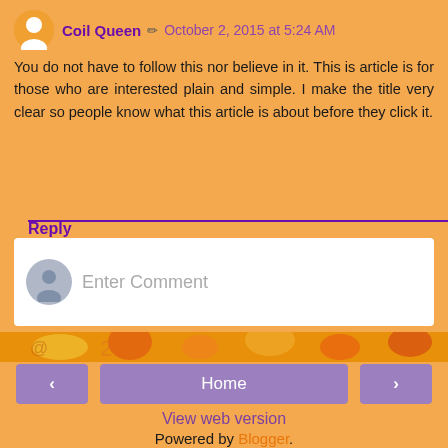Coil Queen  October 2, 2015 at 5:24 AM
You do not have to follow this nor believe in it. This is article is for those who are interested plain and simple. I make the title very clear so people know what this article is about before they click it.
Reply
[Figure (screenshot): Enter Comment input box with user avatar]
[Figure (illustration): Decorative orange/yellow banner strip]
< Home >
View web version
Powered by Blogger.